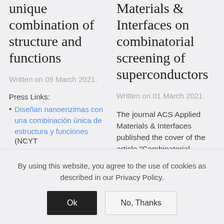unique combination of structure and functions
Written on 09 March 2021.
Press Links:
Diseñan nanoenzimas con una combinación única de estructura y funciones (NCYT
Materials & Interfaces on combinatorial screening of superconductors
Written on 01 March 2021.
The journal ACS Applied Materials & Interfaces published the cover of the article "Combinatorial
By using this website, you agree to the use of cookies as described in our Privacy Policy.